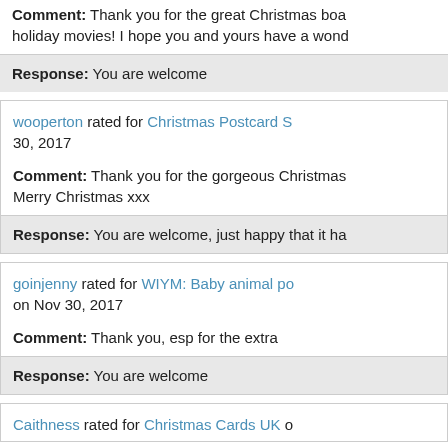Comment: Thank you for the great Christmas boa... holiday movies! I hope you and yours have a wond...
Response: You are welcome
wooperton rated for Christmas Postcard S... 30, 2017
Comment: Thank you for the gorgeous Christmas... Merry Christmas xxx
Response: You are welcome, just happy that it ha...
goinjenny rated for WIYM: Baby animal po... on Nov 30, 2017
Comment: Thank you, esp for the extra
Response: You are welcome
Caithness rated for Christmas Cards UK o...